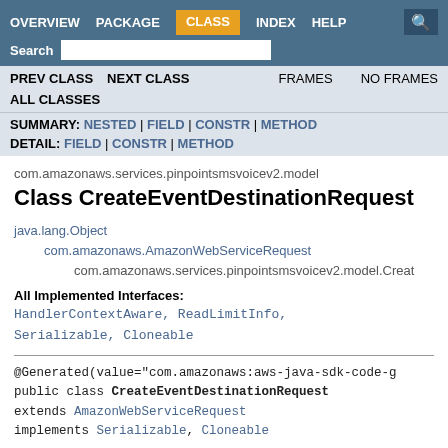OVERVIEW  PACKAGE  CLASS  INDEX  HELP
Search  PREV CLASS  NEXT CLASS  FRAMES  NO FRAMES  ALL CLASSES
SUMMARY: NESTED | FIELD | CONSTR | METHOD  DETAIL: FIELD | CONSTR | METHOD
com.amazonaws.services.pinpointsmsvoicev2.model
Class CreateEventDestinationRequest
java.lang.Object
    com.amazonaws.AmazonWebServiceRequest
        com.amazonaws.services.pinpointsmsvoicev2.model.Creat
All Implemented Interfaces:
HandlerContextAware, ReadLimitInfo, Serializable, Cloneable
@Generated(value="com.amazonaws:aws-java-sdk-code-g
public class CreateEventDestinationRequest
extends AmazonWebServiceRequest
implements Serializable, Cloneable